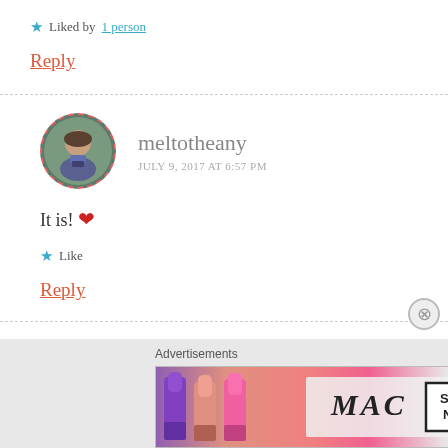★ Liked by 1 person
Reply
[Figure (photo): Avatar photo of commenter meltotheany — circular portrait photo with dashed red border]
meltotheany
JULY 9, 2017 AT 6:57 PM
It is! ❤
★ Like
Reply
Advertisements
[Figure (screenshot): MAC Cosmetics advertisement banner with lipsticks and SHOP NOW button]